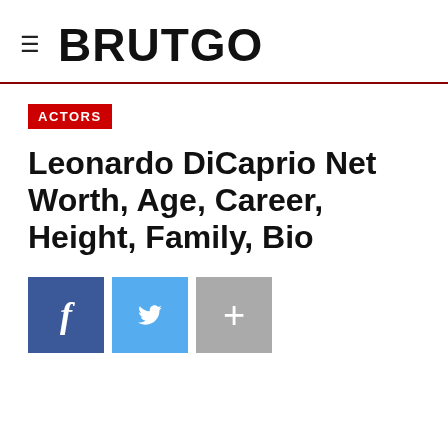≡  BRUTGO
ACTORS
Leonardo DiCaprio Net Worth, Age, Career, Height, Family, Bio
[Figure (other): Social sharing buttons: Facebook (blue), Twitter (light blue), and a plus/more button (gray)]